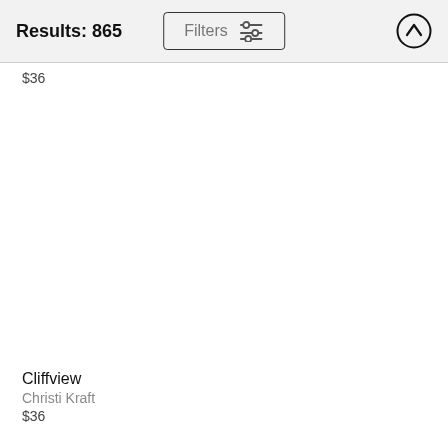Results: 865
$36
Cliffview
Christi Kraft
$36